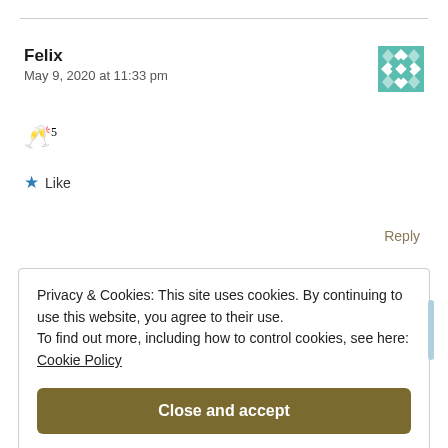Felix
May 9, 2020 at 11:33 pm
[Figure (illustration): Teal/green geometric quilt-pattern avatar icon]
🥂5
★ Like
Reply
Privacy & Cookies: This site uses cookies. By continuing to use this website, you agree to their use.
To find out more, including how to control cookies, see here:
Cookie Policy
Close and accept